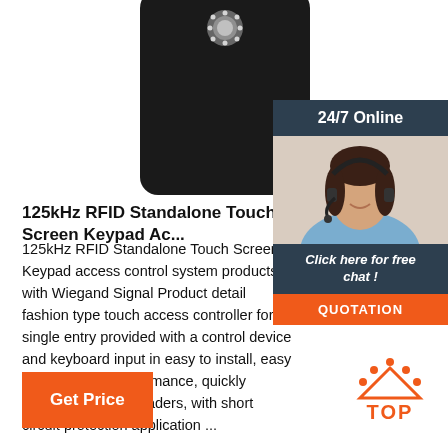[Figure (photo): Black RFID standalone touch screen keypad access control device with decorative element at top, shown against white background]
[Figure (photo): 24/7 Online chat panel with customer service agent (woman with headset) and 'Click here for free chat!' text and orange QUOTATION button]
125kHz RFID Standalone Touch Screen Keypad Ac...
125kHz RFID Standalone Touch Screen Keypad access control system products with Wiegand Signal Product detail fashion type touch access controller for a single entry provided with a control device and keyboard input in easy to install, easy to use, stable performance, quickly identify proximity readers, with short circuit protection application ...
[Figure (other): Orange TOP button with dotted triangle icon above text]
Get Price